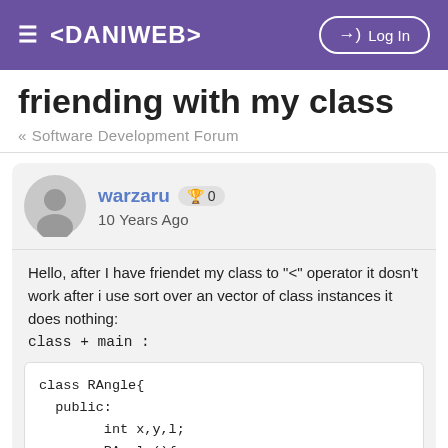≡ <DANIWEB>  →) Log In
friending with my class
« Software Development Forum
warzaru 🏆 0
10 Years Ago
Hello, after I have friendet my class to "<" operator it dosn't work after i use sort over an vector of class instances it does nothing:
class + main :
class RAngle{
  public:
        int x,y,l;
        RAngle(){
        }